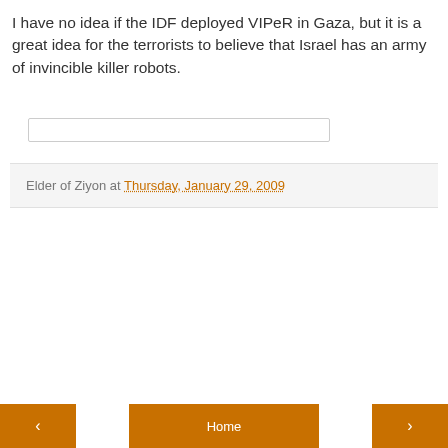I have no idea if the IDF deployed VIPeR in Gaza, but it is a great idea for the terrorists to believe that Israel has an army of invincible killer robots.
Elder of Ziyon at Thursday, January 29, 2009
< Home >